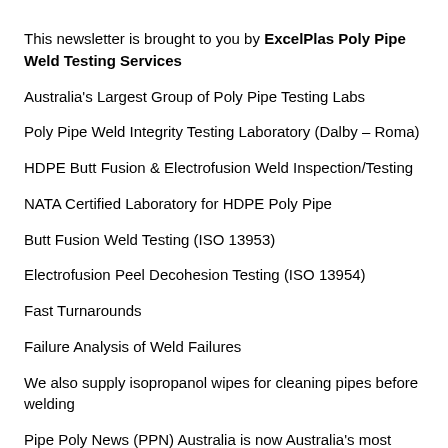This newsletter is brought to you by ExcelPlas Poly Pipe Weld Testing Services
Australia's Largest Group of Poly Pipe Testing Labs
Poly Pipe Weld Integrity Testing Laboratory (Dalby – Roma)
HDPE Butt Fusion & Electrofusion Weld Inspection/Testing
NATA Certified Laboratory for HDPE Poly Pipe
Butt Fusion Weld Testing (ISO 13953)
Electrofusion Peel Decohesion Testing (ISO 13954)
Fast Turnarounds
Failure Analysis of Weld Failures
We also supply isopropanol wipes for cleaning pipes before welding
Pipe Poly News (PPN) Australia is now Australia's most current and comprehensive source of news on Polyethylene Pipes and Poly Pipe Welding
To list your site or articles in PPN, please contact...